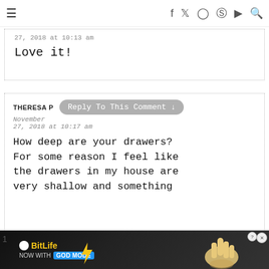≡  f  t  instagram  pinterest  youtube  search
27, 2018 at 10:13 am
Love it!
THERESA P
Reply To This Comment ↓
November 27, 2018 at 10:17 am
How deep are your drawers? For some reason I feel like the drawers in my house are very shallow and something
[Figure (screenshot): BitLife advertisement banner with 'NOW WITH GOD MODE' text and hand illustration]